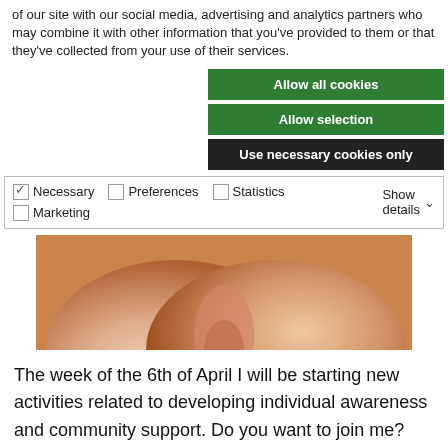of our site with our social media, advertising and analytics partners who may combine it with other information that you've provided to them or that they've collected from your use of their services.
Allow all cookies
Allow selection
Use necessary cookies only
| ✓ Necessary | ☐ Preferences | ☐ Statistics | Show details ∨ |
| ☐ Marketing |  |  |  |
[Figure (photo): Close-up photo of human skin/body part in warm tones]
The week of the 6th of April I will be starting new activities related to developing individual awareness and community support. Do you want to join me? Everyone will be very welcome!